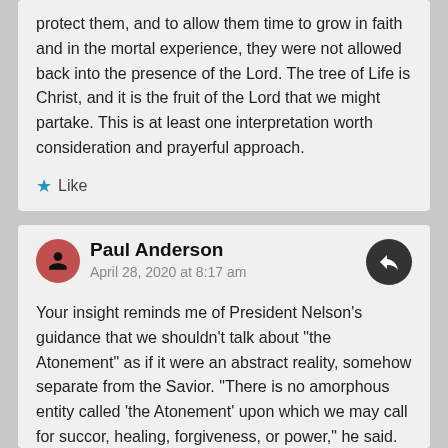protect them, and to allow them time to grow in faith and in the mortal experience, they were not allowed back into the presence of the Lord. The tree of Life is Christ, and it is the fruit of the Lord that we might partake. This is at least one interpretation worth consideration and prayerful approach.
Like
Paul Anderson
April 28, 2020 at 8:17 am
Your insight reminds me of President Nelson's guidance that we shouldn't talk about "the Atonement" as if it were an abstract reality, somehow separate from the Savior. "There is no amorphous entity called 'the Atonement' upon which we may call for succor, healing, forgiveness, or power," he said. "Jesus Christ is the source." ("Drawing the Power of Jesus Christ